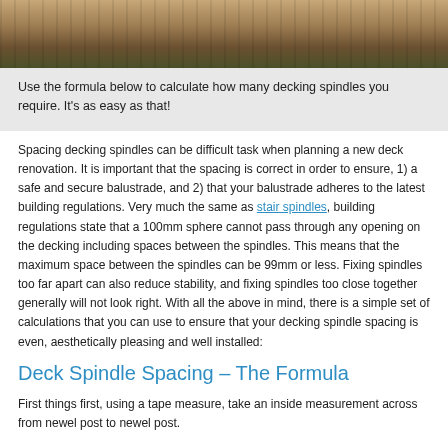[Figure (photo): Partial photograph of a wooden deck area with wicker/rattan furniture and outdoor decking boards visible, shown cropped at the top of the page.]
Use the formula below to calculate how many decking spindles you require. It's as easy as that!
Spacing decking spindles can be difficult task when planning a new deck renovation. It is important that the spacing is correct in order to ensure, 1) a safe and secure balustrade, and 2) that your balustrade adheres to the latest building regulations. Very much the same as stair spindles, building regulations state that a 100mm sphere cannot pass through any opening on the decking including spaces between the spindles. This means that the maximum space between the spindles can be 99mm or less. Fixing spindles too far apart can also reduce stability, and fixing spindles too close together generally will not look right. With all the above in mind, there is a simple set of calculations that you can use to ensure that your decking spindle spacing is even, aesthetically pleasing and well installed:
Deck Spindle Spacing – The Formula
First things first, using a tape measure, take an inside measurement across from newel post to newel post.